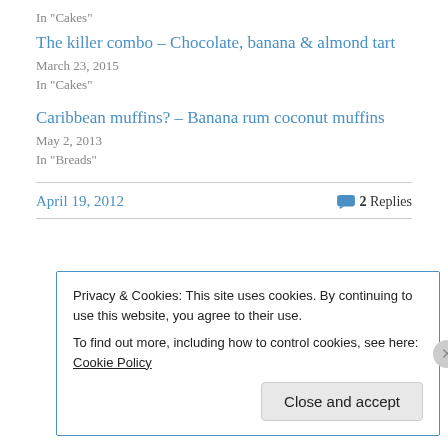In "Cakes"
The killer combo – Chocolate, banana & almond tart
March 23, 2015
In "Cakes"
Caribbean muffins? – Banana rum coconut muffins
May 2, 2013
In "Breads"
April 19, 2012
2 Replies
Privacy & Cookies: This site uses cookies. By continuing to use this website, you agree to their use.
To find out more, including how to control cookies, see here: Cookie Policy
Close and accept